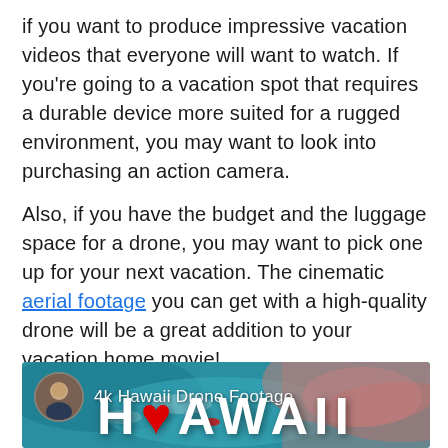if you want to produce impressive vacation videos that everyone will want to watch. If you're going to a vacation spot that requires a durable device more suited for a rugged environment, you may want to look into purchasing an action camera.
Also, if you have the budget and the luggage space for a drone, you may want to pick one up for your next vacation. The cinematic aerial footage you can get with a high-quality drone will be a great addition to your vacation home movie!
[Figure (screenshot): YouTube-style video thumbnail showing aerial drone footage of Hawaii coastline with teal water and pink/coral rock formations. A circular avatar of a young man is shown in the top-left with the text '4k Hawaii Drone Footage' beside it. Large white serif 'HAWAII' text appears at the bottom.]